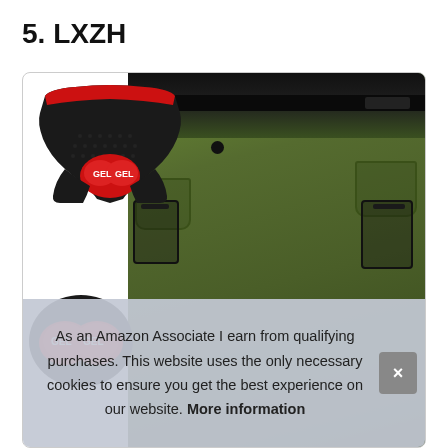5. LXZH
[Figure (photo): Product photo showing olive/army green mountain bike shorts with a black elastic waistband and multiple pockets, alongside black cycling gel-padded underwear shorts with red gel pad inserts. A close-up of the red GEL pad is shown at lower left.]
As an Amazon Associate I earn from qualifying purchases. This website uses the only necessary cookies to ensure you get the best experience on our website. More information